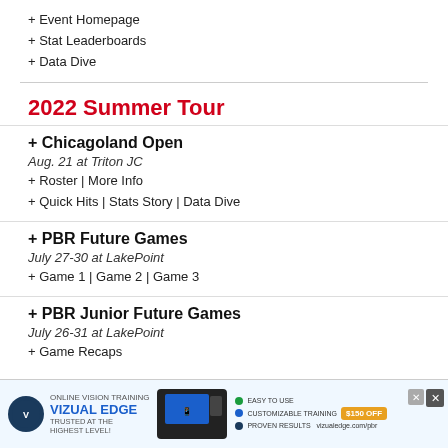+ Event Homepage
+ Stat Leaderboards
+ Data Dive
2022 Summer Tour
+ Chicagoland Open
Aug. 21 at Triton JC
+ Roster | More Info
+ Quick Hits | Stats Story | Data Dive
+ PBR Future Games
July 27-30 at LakePoint
+ Game 1 | Game 2 | Game 3
+ PBR Junior Future Games
July 26-31 at LakePoint
+ Game Recaps
+ Southwest Suburban Open
July 18 at DuPage Medical Group Field
+ Ros...
+ Qu...
[Figure (screenshot): Advertisement for Vizual Edge online vision training with device image and close buttons]